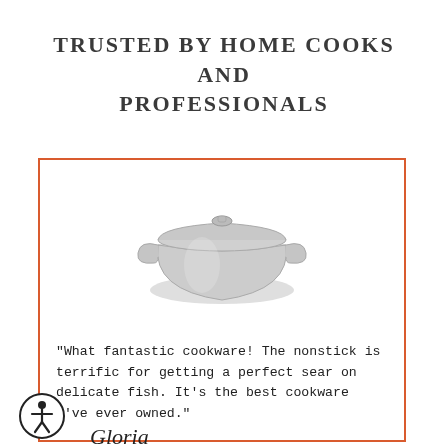TRUSTED BY HOME COOKS AND PROFESSIONALS
[Figure (photo): Stainless steel pot with lid and two side handles, product photo on white background]
"What fantastic cookware! The nonstick is terrific for getting a perfect sear on delicate fish. It's the best cookware I've ever owned."
[Figure (illustration): Accessibility icon: circular button with person/human figure symbol]
Gloria